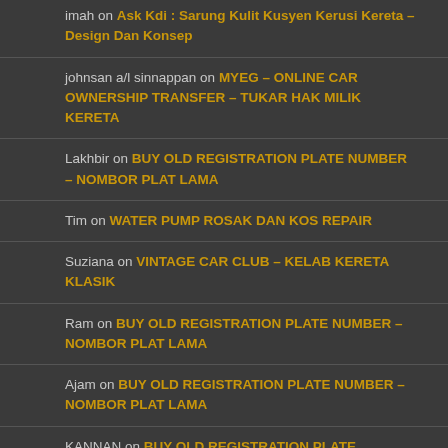imah on Ask Kdi : Sarung Kulit Kusyen Kerusi Kereta – Design Dan Konsep
johnsan a/l sinnappan on MYEG – ONLINE CAR OWNERSHIP TRANSFER – TUKAR HAK MILIK KERETA
Lakhbir on BUY OLD REGISTRATION PLATE NUMBER – NOMBOR PLAT LAMA
Tim on WATER PUMP ROSAK DAN KOS REPAIR
Suziana on VINTAGE CAR CLUB – KELAB KERETA KLASIK
Ram on BUY OLD REGISTRATION PLATE NUMBER – NOMBOR PLAT LAMA
Ajam on BUY OLD REGISTRATION PLATE NUMBER – NOMBOR PLAT LAMA
KANNAN on BUY OLD REGISTRATION PLATE NUMBER – NOMBOR